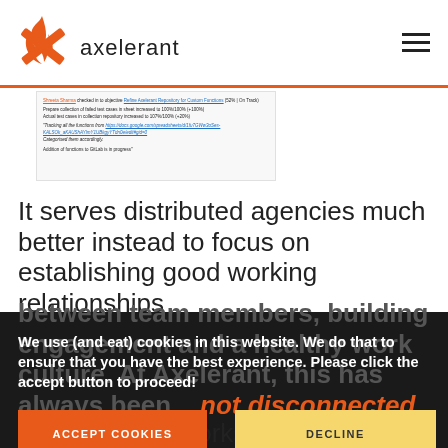[Figure (logo): Axelerant logo with orange flame/X icon and company name 'axelerant' in dark text]
[Figure (screenshot): Screenshot of a task tracking interface showing Shreeta Sharma checked in to objective, test case progress details, and links to Google Sheets]
It serves distributed agencies much better instead to focus on establishing good working relationships between team members, building engagement and a healthy work culture. At Axelerant, this has always been... not disconnected.
We use (and eat) cookies in this website. We do that to ensure that you have the best experience. Please click the accept button to proceed!
ACCEPT COOKIES
DECLINE
Collaboration works better with remote here in